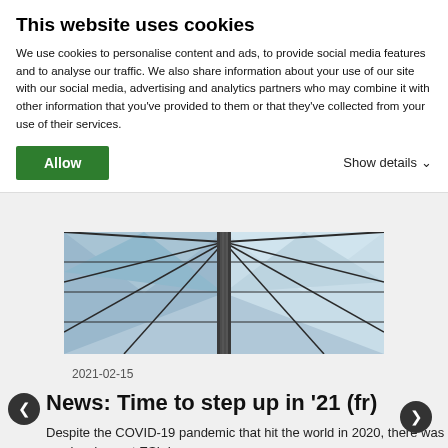This website uses cookies
We use cookies to personalise content and ads, to provide social media features and to analyse our traffic. We also share information about your use of our site with our social media, advertising and analytics partners who may combine it with other information that you've provided to them or that they've collected from your use of their services.
Allow
Show details
[Figure (photo): Looking up at a glass and steel dome roof structure with triangular panes and a central column]
2021-02-15
News: Time to step up in '21 (fr)
Despite the COVID-19 pandemic that hit the world in 2020, there was no slowdown at ESI. In